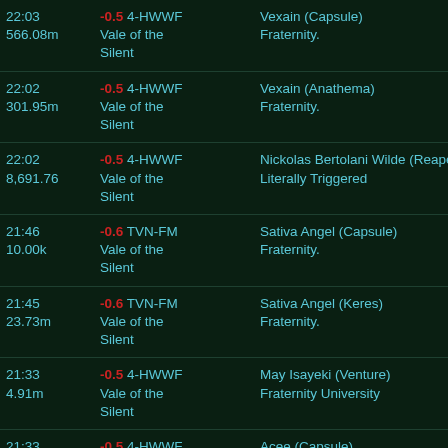| Time/ISK | Security/System | Victim/Corp |
| --- | --- | --- |
| 22:03
566.08m | -0.5 4-HWWF
Vale of the Silent | Vexain (Capsule)
Fraternity. |
| 22:02
301.95m | -0.5 4-HWWF
Vale of the Silent | Vexain (Anathema)
Fraternity. |
| 22:02
8,691.76 | -0.5 4-HWWF
Vale of the Silent | Nickolas Bertolani Wilde (Reaper)
Literally Triggered |
| 21:46
10.00k | -0.6 TVN-FM
Vale of the Silent | Sativa Angel (Capsule)
Fraternity. |
| 21:45
23.73m | -0.6 TVN-FM
Vale of the Silent | Sativa Angel (Keres)
Fraternity. |
| 21:33
4.91m | -0.5 4-HWWF
Vale of the Silent | May Isayeki (Venture)
Fraternity University |
| 21:33 | -0.5 4-HWWF | Acee (Capsule) |